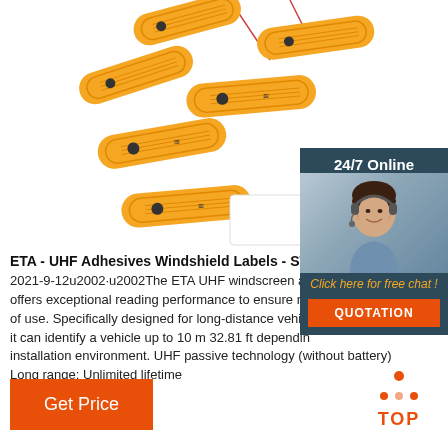[Figure (photo): Multiple yellow UHF RFID adhesive windshield labels/tags arranged on white background, with antenna wires visible]
[Figure (photo): 24/7 Online customer service widget with dark background showing a smiling woman with headset, orange chat and quotation buttons]
ETA - UHF Adhesives Windshield Labels - STid Sec
2021-9-12u2002·u2002The ETA UHF windscreen au offers exceptional reading performance to ensure re of use. Specifically designed for long-distance vehic it can identify a vehicle up to 10 m 32.81 ft dependin installation environment. UHF passive technology (without battery) Long range; Unlimited lifetime
[Figure (illustration): TOP button icon with orange dots arranged in triangle above the word TOP in orange]
[Figure (other): Get Price orange button]